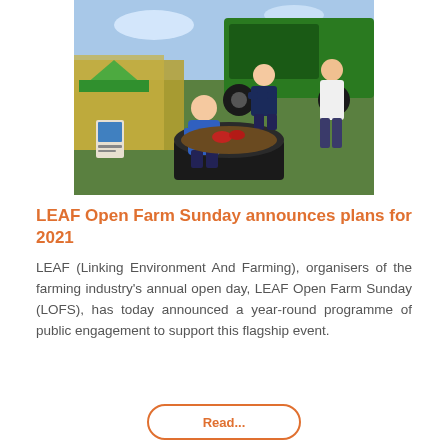[Figure (photo): Two young children playing near a large black container at an outdoor farm event, with a green combine harvester in the background and adults nearby on a sunny day]
LEAF Open Farm Sunday announces plans for 2021
LEAF (Linking Environment And Farming), organisers of the farming industry's annual open day, LEAF Open Farm Sunday (LOFS), has today announced a year-round programme of public engagement to support this flagship event.